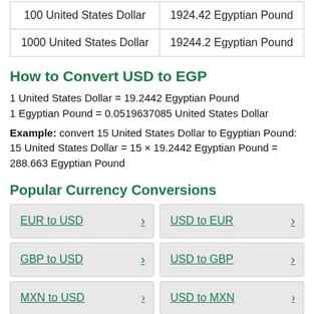| 100 United States Dollar | 1924.42 Egyptian Pound |
| 1000 United States Dollar | 19244.2 Egyptian Pound |
How to Convert USD to EGP
1 United States Dollar = 19.2442 Egyptian Pound
1 Egyptian Pound = 0.0519637085 United States Dollar
Example: convert 15 United States Dollar to Egyptian Pound:
15 United States Dollar = 15 × 19.2442 Egyptian Pound = 288.663 Egyptian Pound
Popular Currency Conversions
EUR to USD
USD to EUR
GBP to USD
USD to GBP
MXN to USD
USD to MXN